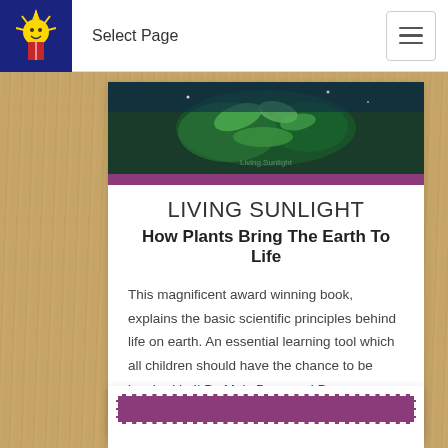Select Page
[Figure (illustration): Book cover illustration showing nature/plants scene with deep blue and green tones]
LIVING SUNLIGHT
How Plants Bring The Earth To Life
This magnificent award winning book, explains the basic scientific principles behind life on earth. An essential learning tool which all children should have the chance to be inspired by!| By Moly Bang and Penny Chisholm.| AGES 4-8
[Figure (illustration): Purple dashed border decorative bar at bottom of page]